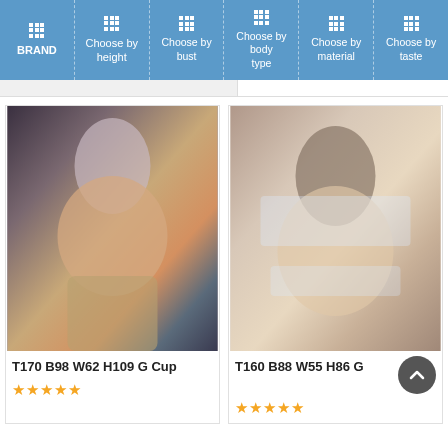BRAND | Choose by height | Choose by bust | Choose by body type | Choose by material | Choose by taste
[Figure (photo): Product photo of a doll with silver/purple hair wearing pink bra and denim shorts, seated pose]
T170 B98 W62 H109 G Cup
[Figure (photo): Product photo of a doll with dark brown hair, partially wrapped in plastic packaging]
T160 B88 W55 H86 G